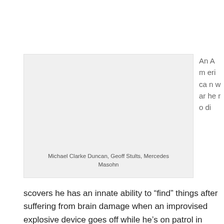[Figure (photo): A light gray image placeholder box with caption listing actors: Michael Clarke Duncan, Geoff Stults, Mercedes Masohn]
Michael Clarke Duncan, Geoff Stults, Mercedes Masohn
An American war hero discovers he has an innate ability to “find” things after suffering from brain damage when an improvised explosive device goes off while he’s on patrol in Afghanistan. Sound quirky? Welcome to The Finder